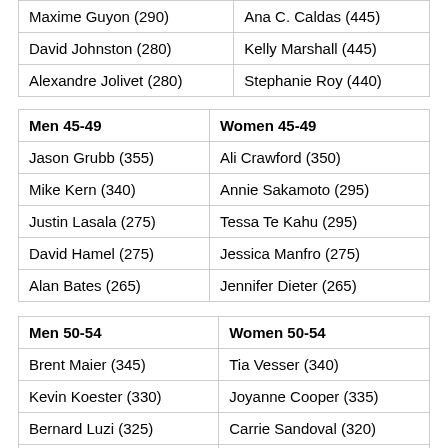| Maxime Guyon (290) | Ana C. Caldas (445) |
| David Johnston (280) | Kelly Marshall (445) |
| Alexandre Jolivet (280) | Stephanie Roy (440) |
| Men 45-49 | Women 45-49 |
| --- | --- |
| Jason Grubb (355) | Ali Crawford (350) |
| Mike Kern (340) | Annie Sakamoto (295) |
| Justin Lasala (275) | Tessa Te Kahu (295) |
| David Hamel (275) | Jessica Manfro (275) |
| Alan Bates (265) | Jennifer Dieter (265) |
| Men 50-54 | Women 50-54 |
| --- | --- |
| Brent Maier (345) | Tia Vesser (340) |
| Kevin Koester (330) | Joyanne Cooper (335) |
| Bernard Luzi (325) | Carrie Sandoval (320) |
| Christian Biagi (320) | Marianne Højbjerg (305) |
| Darius Bookholdt (275) | Cherianne Benoit (270) |